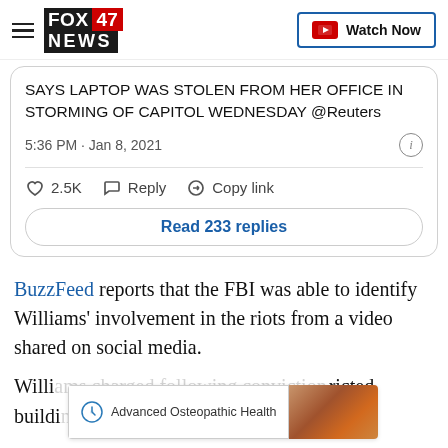FOX 47 NEWS | Watch Now
[Figure (screenshot): Partial tweet card showing text: SAYS LAPTOP WAS STOLEN FROM HER OFFICE IN STORMING OF CAPITOL WEDNESDAY @Reuters. Timestamp: 5:36 PM · Jan 8, 2021. Actions: 2.5K likes, Reply, Copy link. Read 233 replies button.]
BuzzFeed reports that the FBI was able to identify Williams' involvement in the riots from a video shared on social media.
Williams [text cut off] ricted buildi[ng cut off] ment